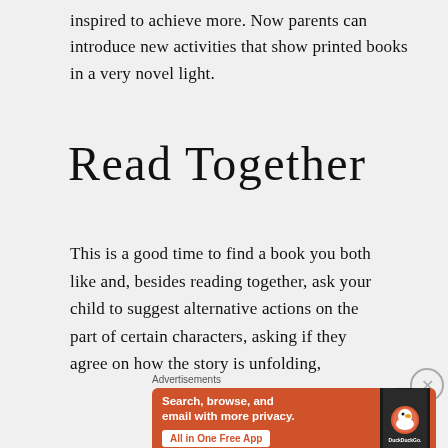inspired to achieve more. Now parents can introduce new activities that show printed books in a very novel light.
Read Together
This is a good time to find a book you both like and, besides reading together, ask your child to suggest alternative actions on the part of certain characters, asking if they agree on how the story is unfolding,
[Figure (other): DuckDuckGo advertisement banner with orange background showing 'Search, browse, and email with more privacy. All in One Free App' with a phone graphic and DuckDuckGo logo]